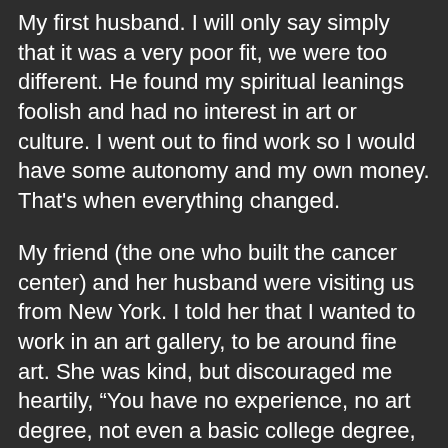My first husband. I will only say simply that it was a very poor fit, we were too different. He found my spiritual leanings foolish and had no interest in art or culture. I went out to find work so I would have some autonomy and my own money. That's when everything changed.

My friend (the one who built the cancer center) and her husband were visiting us from New York. I told her that I wanted to work in an art gallery, to be around fine art. She was kind, but discouraged me heartily, “You have no experience, no art degree, not even a basic college degree, what can you offer?” She suggested I work at what I knew. I had done well selling high-end clothing in Los Angeles, there was plenty of that in Aspen. I know she was trying to be helpful, not see me get rejected, but her words burned in me like a challenge rather than motherly advice. Perhaps she underestimated me; I was going to prove her wrong.